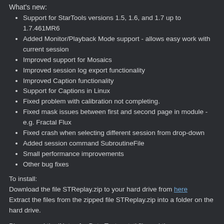What's new:
Support for StarTools versions 1.5, 1.6, and 1.7 up to 1.7.461MR6
Added Monitor/Playback Mode support - allows easy work with current session
Improved support for Mosaics
Improved session log export functionality
Improved Caption functionality
Support for Captions in Linux
Fixed problem with calibration not completing.
Fixed mask issues between first and second page in module - e.g. Fractal Flux
Fixed crash when selecting different session from drop-down
Added session command SubroutineFile
Small performance improvements
Other bug fixes
To install:
Download the file STReplay.zip to your hard drive from here
Extract the files from the zipped file STReplay.zip into a folder on the hard drive.
Please read the 'Notes for Beta Testers.txt' file and the 'STReplayNotes' PDF
It is still beta so you may find some problems. Please report these to me